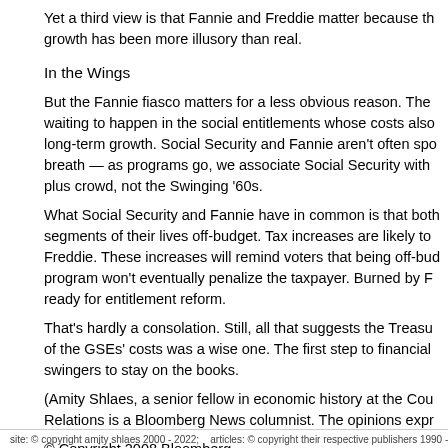Yet a third view is that Fannie and Freddie matter because th growth has been more illusory than real.
In the Wings
But the Fannie fiasco matters for a less obvious reason. The waiting to happen in the social entitlements whose costs also long-term growth. Social Security and Fannie aren't often sp breath — as programs go, we associate Social Security with plus crowd, not the Swinging '60s.
What Social Security and Fannie have in common is that bot segments of their lives off-budget. Tax increases are likely t Freddie. These increases will remind voters that being off-bu program won't eventually penalize the taxpayer. Burned by F ready for entitlement reform.
That's hardly a consolation. Still, all that suggests the Treas of the GSEs' costs was a wise one. The first step to financial swingers to stay on the books.
(Amity Shlaes, a senior fellow in economic history at the Co Relations is a Bloomberg News columnist. The opinions expr
© Copyright 2008 Bloomberg
site: © copyright amity shlaes 2000 - 2022;    articles: © copyright their respective publishers 1990 -